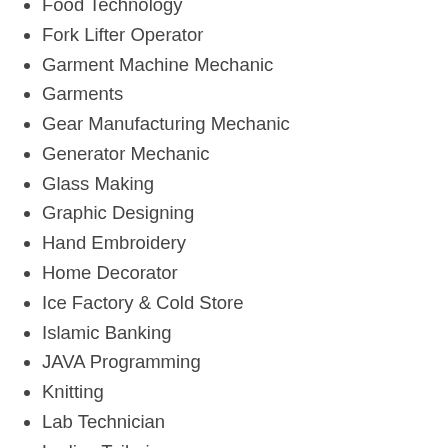Food Technology
Fork Lifter Operator
Garment Machine Mechanic
Garments
Gear Manufacturing Mechanic
Generator Mechanic
Glass Making
Graphic Designing
Hand Embroidery
Home Decorator
Ice Factory & Cold Store
Islamic Banking
JAVA Programming
Knitting
Lab Technician
Ladies Tailoring
Land Surveying
Lathe Machine Operator
Leather Work
Lift Technician
Livestock Manager
Loader Operator
MCITR